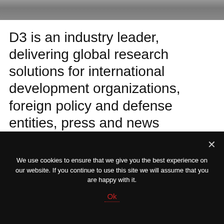[Figure (photo): Dark grayscale header image banner at top of page]
D3 is an industry leader, delivering global research solutions for international development organizations, foreign policy and defense entities, press and news organizations, and cross-sector think tanks. We also have conductive extensive audience and media measurement studies for a wide range of clients, including reputable international
We use cookies to ensure that we give you the best experience on our website. If you continue to use this site we will assume that you are happy with it. Ok
Ok